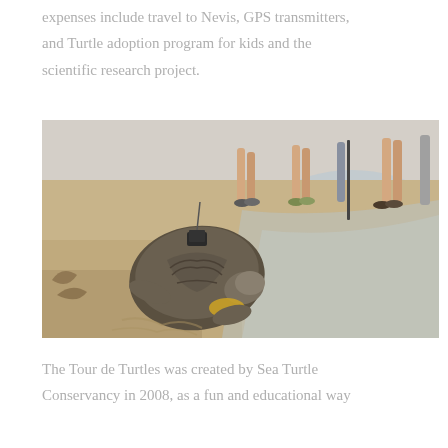expenses include travel to Nevis, GPS transmitters, and Turtle adoption program for kids and the scientific research project.
[Figure (photo): A sea turtle with a GPS transmitter device attached to its back crawling on a sandy beach, with people standing in the background watching near the water's edge.]
The Tour de Turtles was created by Sea Turtle Conservancy in 2008, as a fun and educational way